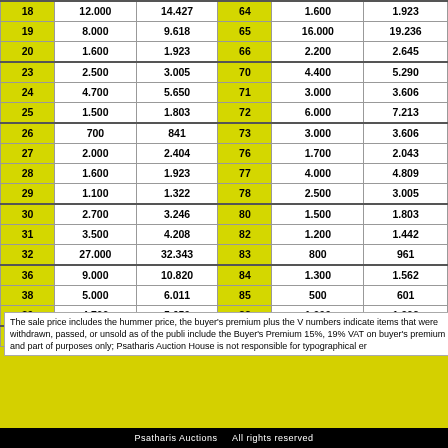| Lot | Estimate | Result | Lot | Estimate | Result |
| --- | --- | --- | --- | --- | --- |
| 18 | 12.000 | 14.427 | 64 | 1.600 | 1.923 |
| 19 | 8.000 | 9.618 | 65 | 16.000 | 19.236 |
| 20 | 1.600 | 1.923 | 66 | 2.200 | 2.645 |
| 23 | 2.500 | 3.005 | 70 | 4.400 | 5.290 |
| 24 | 4.700 | 5.650 | 71 | 3.000 | 3.606 |
| 25 | 1.500 | 1.803 | 72 | 6.000 | 7.213 |
| 26 | 700 | 841 | 73 | 3.000 | 3.606 |
| 27 | 2.000 | 2.404 | 76 | 1.700 | 2.043 |
| 28 | 1.600 | 1.923 | 77 | 4.000 | 4.809 |
| 29 | 1.100 | 1.322 | 78 | 2.500 | 3.005 |
| 30 | 2.700 | 3.246 | 80 | 1.500 | 1.803 |
| 31 | 3.500 | 4.208 | 82 | 1.200 | 1.442 |
| 32 | 27.000 | 32.343 | 83 | 800 | 961 |
| 36 | 9.000 | 10.820 | 84 | 1.300 | 1.562 |
| 38 | 5.000 | 6.011 | 85 | 500 | 601 |
| 39 | 4.700 | 5.650 | 88 | 1.000 | 1.202 |
| 42 | 3.000 | 3.606 | 89 | 1.500 | 1.803 |
The sale price includes the hummer price, the buyer's premium plus the V... numbers indicate items that were withdrawn, passed, or unsold as of the publi... include the Buyer's Premium 15%, 19% VAT on buyer's premium and part of ... purposes only; Psatharis Auction House is not responsible for typographical er...
Psatharis Auctions    All rights reserved